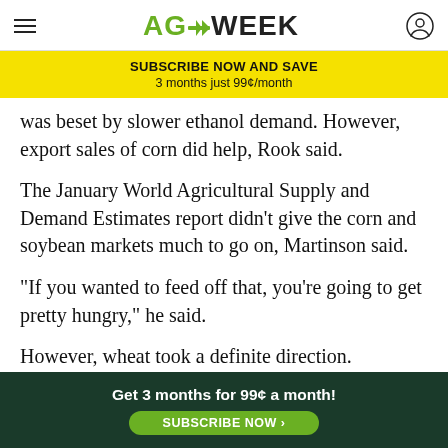AGWEEK
SUBSCRIBE NOW AND SAVE
3 months just 99¢/month
was beset by slower ethanol demand. However, export sales of corn did help, Rook said.
The January World Agricultural Supply and Demand Estimates report didn't give the corn and soybean markets much to go on, Martinson said.
"If you wanted to feed off that, you're going to get pretty hungry," he said.
However, wheat took a definite direction.
"That Marti
[Figure (infographic): Bottom advertisement banner: dark green background with white bold text 'Get 3 months for 99¢ a month!' and a bright green rounded button reading 'SUBSCRIBE NOW >']